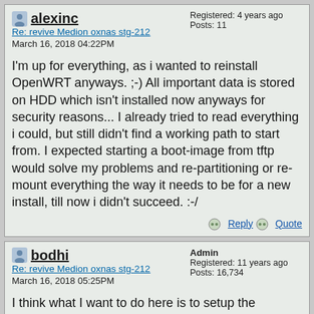alexinc
Re: revive Medion oxnas stg-212
March 16, 2018 04:22PM
Registered: 4 years ago
Posts: 11
I'm up for everything, as i wanted to reinstall OpenWRT anyways. ;-) All important data is stored on HDD which isn't installed now anyways for security reasons... I already tried to read everything i could, but still didn't find a working path to start from. I expected starting a boot-image from tftp would solve my problems and re-partitioning or re-mount everything the way it needs to be for a new install, till now i didn't succeed. :-/
Reply   Quote
bodhi
Re: revive Medion oxnas stg-212
March 16, 2018 05:25PM
Admin
Registered: 11 years ago
Posts: 16,734
I think what I want to do here is to setup the installation the same way for OXNAS as for Kirkwood. I know habibie has been asking about this issue.